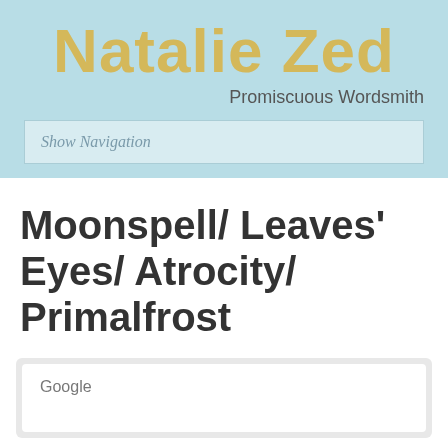Natalie Zed
Promiscuous Wordsmith
Show Navigation
Moonspell/ Leaves' Eyes/ Atrocity/ Primalfrost
Google